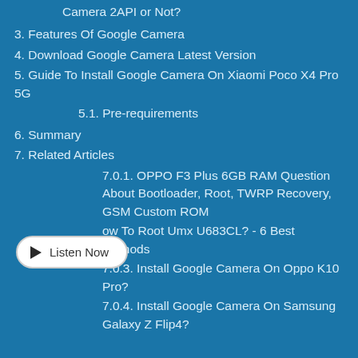Camera 2API or Not?
3. Features Of Google Camera
4. Download Google Camera Latest Version
5. Guide To Install Google Camera On Xiaomi Poco X4 Pro 5G
5.1. Pre-requirements
6. Summary
7. Related Articles
7.0.1. OPPO F3 Plus 6GB RAM Question About Bootloader, Root, TWRP Recovery, GSM Custom ROM
7.0.2. How To Root Umx U683CL? - 6 Best Methods
7.0.3. Install Google Camera On Oppo K10 Pro?
7.0.4. Install Google Camera On Samsung Galaxy Z Flip4?